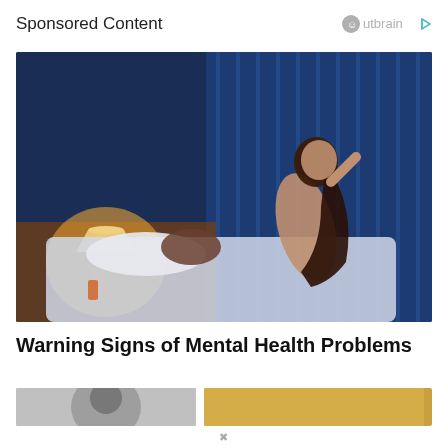Sponsored Content
[Figure (photo): A woman sitting up in bed at night, looking distressed, while a man lies asleep beside her. The room is lit with blue ambient light from blinds and warm lamp light on the nightstand.]
Warning Signs of Mental Health Problems
Mental Health | Search Ads
[Figure (photo): Partially visible thumbnail images at the bottom of the page — left thumbnail shows a person's face in grayscale, right thumbnail shows a warm golden-toned scene.]